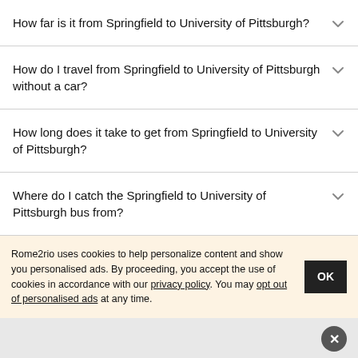How far is it from Springfield to University of Pittsburgh?
How do I travel from Springfield to University of Pittsburgh without a car?
How long does it take to get from Springfield to University of Pittsburgh?
Where do I catch the Springfield to University of Pittsburgh bus from?
Rome2rio uses cookies to help personalize content and show you personalised ads. By proceeding, you accept the use of cookies in accordance with our privacy policy. You may opt out of personalised ads at any time.